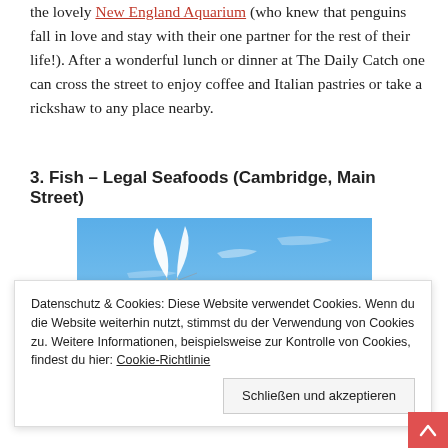the lovely New England Aquarium (who knew that penguins fall in love and stay with their one partner for the rest of their life!). After a wonderful lunch or dinner at The Daily Catch one can cross the street to enjoy coffee and Italian pastries or take a rickshaw to any place nearby.
3. Fish – Legal Seafoods (Cambridge, Main Street)
[Figure (photo): Outdoor photo showing a sculpture with white leaf-shaped tops against a blue sky, with dark ground/water at the bottom.]
Datenschutz & Cookies: Diese Website verwendet Cookies. Wenn du die Website weiterhin nutzt, stimmst du der Verwendung von Cookies zu. Weitere Informationen, beispielsweise zur Kontrolle von Cookies, findest du hier: Cookie-Richtlinie